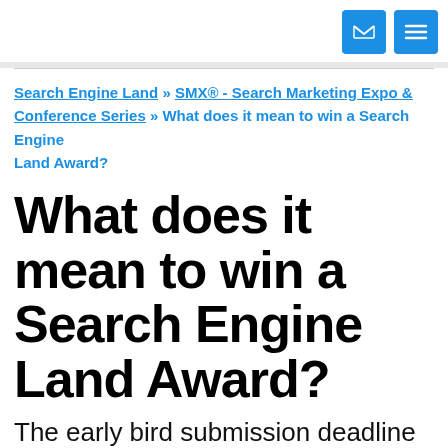[email icon] [menu icon]
Search Engine Land » SMX® - Search Marketing Expo & Conference Series » What does it mean to win a Search Engine Land Award?
What does it mean to win a Search Engine Land Award?
The early bird submission deadline of July 14th for the 3rd annual Search Engine